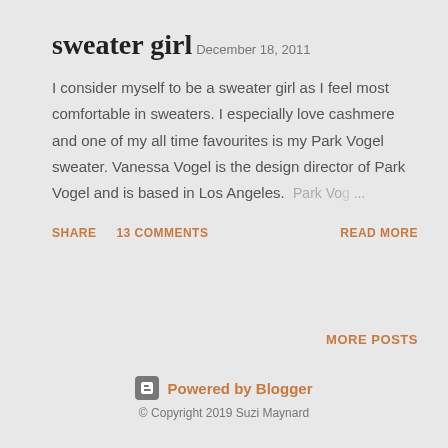sweater girl
December 18, 2011
I consider myself to be a sweater girl as I feel most comfortable in sweaters. I especially love cashmere and one of my all time favourites is my Park Vogel sweater. Vanessa Vogel is the design director of Park Vogel and is based in Los Angeles.  Park Vog... ...
SHARE   13 COMMENTS   READ MORE
MORE POSTS
Powered by Blogger
© Copyright 2019 Suzi Maynard